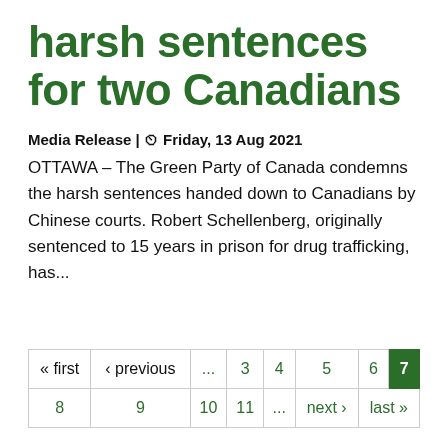harsh sentences for two Canadians
Media Release | ⏰ Friday, 13 Aug 2021
OTTAWA – The Green Party of Canada condemns the harsh sentences handed down to Canadians by Chinese courts. Robert Schellenberg, originally sentenced to 15 years in prison for drug trafficking, has...
| « first | ‹ previous | ... | 3 | 4 | 5 | 6 | 7 |
| 8 | 9 | 10 | 11 | ... | next › | last » |